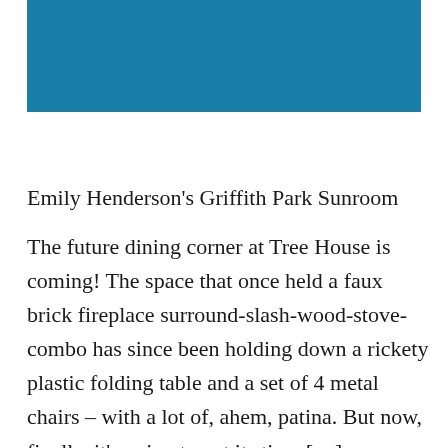[Figure (photo): Blue/teal rectangular image block at the top of the page]
Emily Henderson's Griffith Park Sunroom
The future dining corner at Tree House is coming! The space that once held a faux brick fireplace surround-slash-wood-stove-combo has since been holding down a rickety plastic folding table and a set of 4 metal chairs – with a lot of, ahem, patina. But now, finally, it's going to get its time […]